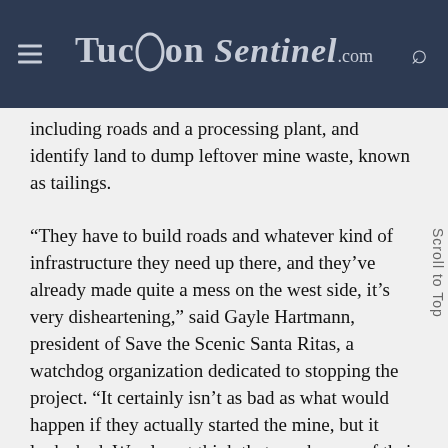TucsonSentinel.com
including roads and a processing plant, and identify land to dump leftover mine waste, known as tailings.
“They have to build roads and whatever kind of infrastructure they need up there, and they’ve already made quite a mess on the west side, it’s very disheartening,” said Gayle Hartmann, president of Save the Scenic Santa Ritas, a watchdog organization dedicated to stopping the project. “It certainly isn’t as bad as what would happen if they actually started the mine, but it looks bad. We almost think that maybe one of their schemes was to do as much damage as possible, and then maybe people will give up.”
The project has been in the works in some form since the mid-1990s, and the property in question had several owners prior to its purchase by Hudbay.